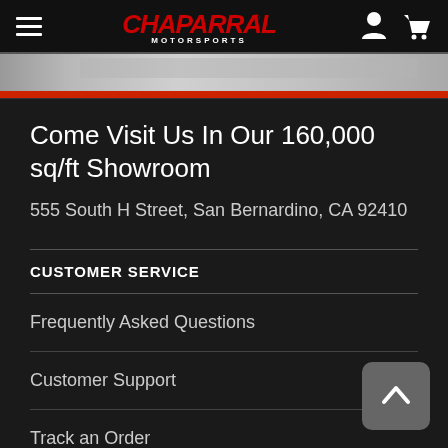Chaparral Motorsports
[Figure (photo): Banner photo of Chaparral Motorsports showroom exterior with red stripe at bottom]
Come Visit Us In Our 160,000 sq/ft Showroom
555 South H Street, San Bernardino, CA 92410
CUSTOMER SERVICE
Frequently Asked Questions
Customer Support
Track an Order